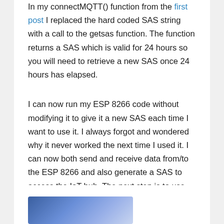In my connectMQTT() function from the first post I replaced the hard coded SAS string with a call to the getsas function. The function returns a SAS which is valid for 24 hours so you will need to retrieve a new SAS once 24 hours has elapsed.
I can now run my ESP 8266 code without modifying it to give it a new SAS each time I want to use it. I always forgot and wondered why it never worked the next time I used it. I can now both send and receive data from/to the ESP 8266 and also generate a SAS to access the IoT hub. The next step is to use the data received by the hub in an application and send action messages back to the ESP 8266 if changes are made. I look forward to letting you know how I got on with that in a future post.
[Figure (photo): Partial image visible at the bottom of the page, appears to be a blue-toned banner or thumbnail image.]